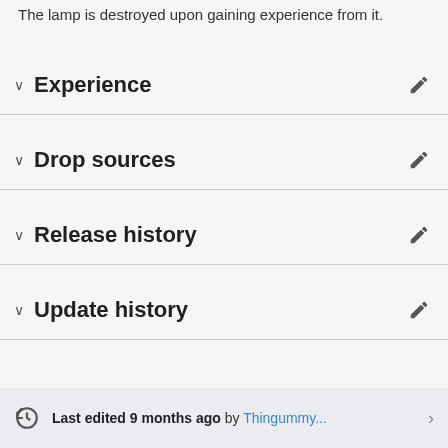The lamp is destroyed upon gaining experience from it.
Experience
Drop sources
Release history
Update history
Last edited 9 months ago by Thingummy...